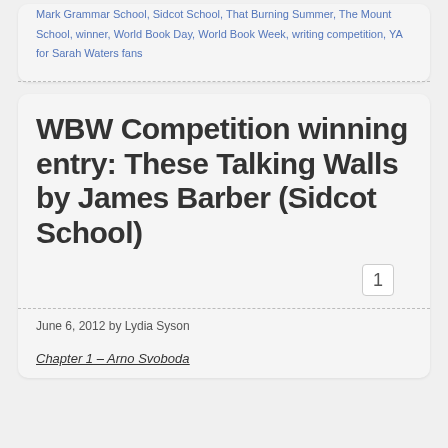Mark Grammar School, Sidcot School, That Burning Summer, The Mount School, winner, World Book Day, World Book Week, writing competition, YA for Sarah Waters fans
WBW Competition winning entry: These Talking Walls by James Barber (Sidcot School)
June 6, 2012 by Lydia Syson
Chapter 1 – Arno Svoboda